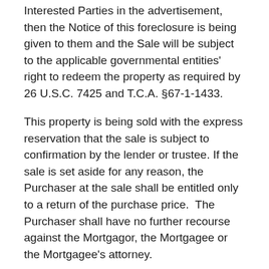Interested Parties in the advertisement, then the Notice of this foreclosure is being given to them and the Sale will be subject to the applicable governmental entities' right to redeem the property as required by 26 U.S.C. 7425 and T.C.A. §67-1-1433.
This property is being sold with the express reservation that the sale is subject to confirmation by the lender or trustee. If the sale is set aside for any reason, the Purchaser at the sale shall be entitled only to a return of the purchase price.  The Purchaser shall have no further recourse against the Mortgagor, the Mortgagee or the Mortgagee's attorney.
MWZM File No.  17-000184-220
MACKIE WOLF ZIENTZ & MANN, P. C., Substitute